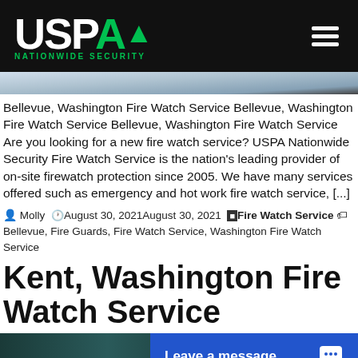USPA NATIONWIDE SECURITY
Bellevue, Washington Fire Watch Service Bellevue, Washington Fire Watch Service Bellevue, Washington Fire Watch Service Are you looking for a new fire watch service? USPA Nationwide Security Fire Watch Service is the nation's leading provider of on-site firewatch protection since 2005. We have many services offered such as emergency and hot work fire watch service, [...]
Molly August 30, 2021August 30, 2021 Fire Watch Service Bellevue, Fire Guards, Fire Watch Service, Washington Fire Watch Service
Kent, Washington Fire Watch Service
[Figure (screenshot): Leave a message chat button on dark background]